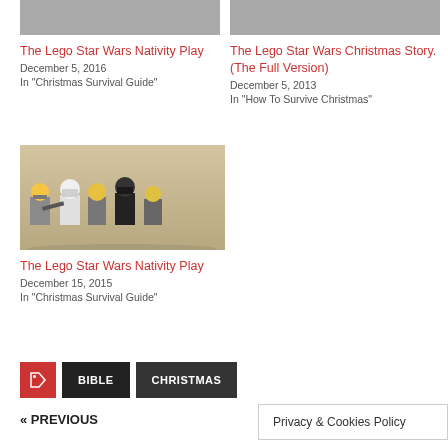[Figure (photo): Thumbnail image for The Lego Star Wars Nativity Play article (top left)]
The Lego Star Wars Nativity Play
December 5, 2016
In "Christmas Survival Guide"
[Figure (photo): Thumbnail image for The Lego Star Wars Christmas Story article (top right)]
The Lego Star Wars Christmas Story. (The Full Version)
December 5, 2013
In "How To Survive Christmas"
[Figure (photo): Lego Star Wars minifigures including stormtrooper and other characters posed together]
The Lego Star Wars Nativity Play
December 15, 2015
In "Christmas Survival Guide"
BIBLE
CHRISTMAS
« PREVIOUS
Privacy & Cookies Policy